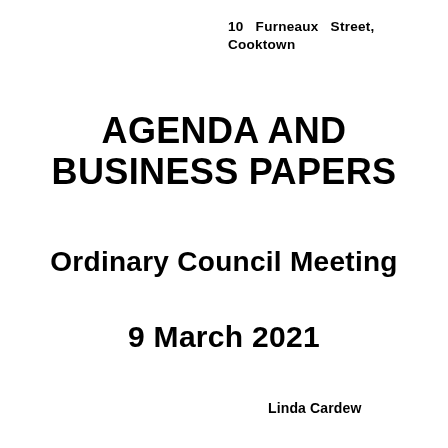10   Furneaux   Street,
Cooktown
AGENDA AND BUSINESS PAPERS
Ordinary Council Meeting
9 March 2021
Linda Cardew